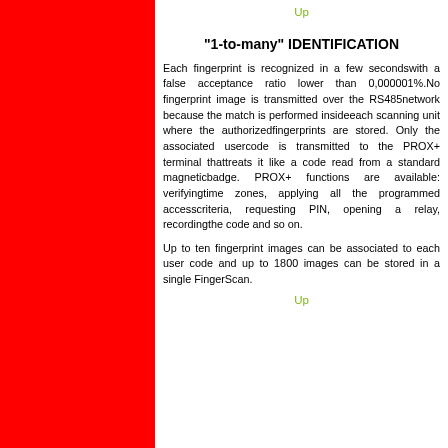Up
"1-to-many" IDENTIFICATION
Each fingerprint is recognized in a few secondswith a false acceptance ratio lower than 0,000001%.No fingerprint image is transmitted over the RS485network because the match is performed insideeach scanning unit where the authorizedfingerprints are stored. Only the associated usercode is transmitted to the PROX+ terminal thattreats it like a code read from a standard magneticbadge. PROX+ functions are available: verifyingtime zones, applying all the programmed accesscriteria, requesting PIN, opening a relay, recordingthe code and so on.
Up to ten fingerprint images can be associated to each user code and up to 1800 images can be stored in a single FingerScan.
Up